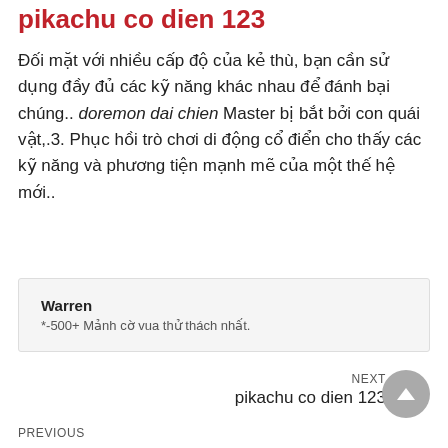pikachu co dien 123
Đối mặt với nhiều cấp độ của kẻ thù, bạn cần sử dụng đầy đủ các kỹ năng khác nhau để đánh bại chúng.. doremon dai chien Master bị bắt bởi con quái vật,.3. Phục hồi trò chơi di động cổ điển cho thấy các kỹ năng và phương tiện mạnh mẽ của một thế hệ mới..
Warren
*-500+ Mảnh cờ vua thử thách nhất.
NEXT
pikachu co dien 123
PREVIOUS